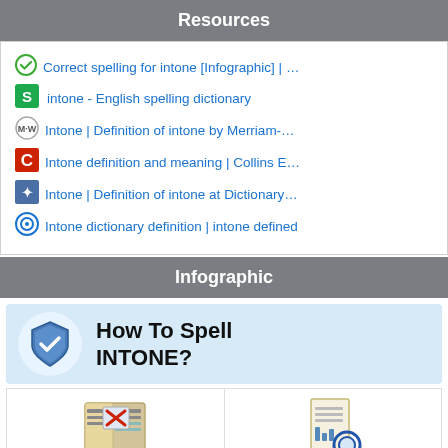Resources
Correct spelling for intone [Infographic] | …
intone - English spelling dictionary
Intone | Definition of intone by Merriam-…
Intone definition and meaning | Collins E…
Intone | Definition of intone at Dictionary…
Intone dictionary definition | intone defined
Infographic
[Figure (infographic): How To Spell INTONE? infographic with shield icon, definitions for intone section with book icon, and List of misspellings for intone section with document/magnifier icon]